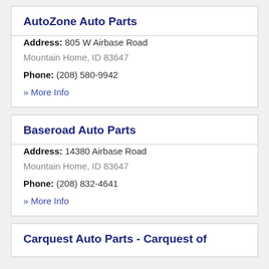AutoZone Auto Parts
Address: 805 W Airbase Road
Mountain Home, ID 83647
Phone: (208) 580-9942
» More Info
Baseroad Auto Parts
Address: 14380 Airbase Road
Mountain Home, ID 83647
Phone: (208) 832-4641
» More Info
Carquest Auto Parts - Carquest of